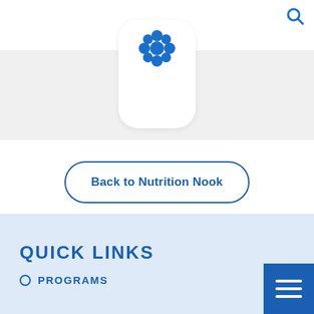[Figure (logo): Blue flower/snowflake-shaped logo icon centered at top of page inside a white rounded card]
[Figure (other): Search icon (magnifying glass) in blue at top right corner]
Back to Nutrition Nook
QUICK LINKS
○  PROGRAMS
[Figure (other): Blue hamburger menu button at bottom right]